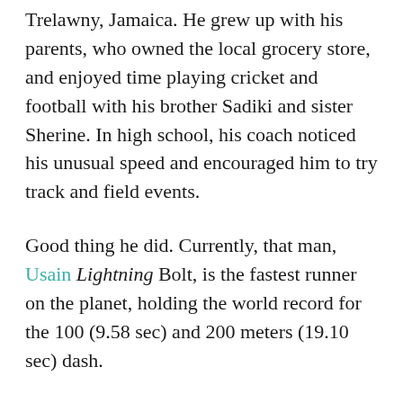Trelawny, Jamaica. He grew up with his parents, who owned the local grocery store, and enjoyed time playing cricket and football with his brother Sadiki and sister Sherine. In high school, his coach noticed his unusual speed and encouraged him to try track and field events.
Good thing he did. Currently, that man, Usain Lightning Bolt, is the fastest runner on the planet, holding the world record for the 100 (9.58 sec) and 200 meters (19.10 sec) dash.
Usain Bolt didn’t become the fastest runner without setbacks. During the 2005 World Championships in Helinski, he suffered an injury in the final, finishing last place in the